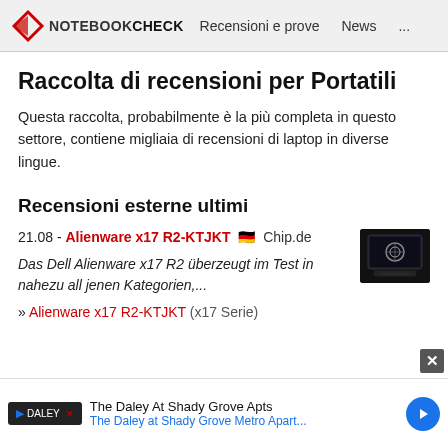NOTEBOOKCHECK — Recensioni e prove  News  ...
Raccolta di recensioni per Portatili
Questa raccolta, probabilmente è la più completa in questo settore, contiene migliaia di recensioni di laptop in diverse lingue.
Recensioni esterne ultimi
21.08 - Alienware x17 R2-KTJKT 🇩🇪 Chip.de
Das Dell Alienware x17 R2 überzeugt im Test in nahezu all jenen Kategorien,...
» Alienware x17 R2-KTJKT (x17 Serie)
[Figure (photo): Laptop product image of Alienware x17 R2, dark/black gaming laptop shown from slightly above front angle]
The Daley At Shady Grove Apts — The Daley at Shady Grove Metro Apart...